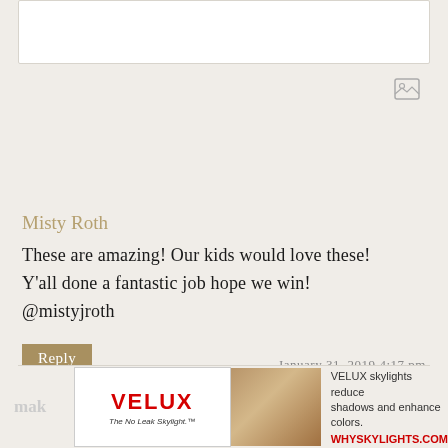[Figure (other): White input box at top of page]
[Figure (other): Small image/photo placeholder icon in top right area]
Misty Roth
These are amazing! Our kids would love these! Y’all done a fantastic job hope we win! @mistyjroth
Reply
January 31, 2019 4:17 pm
[Figure (other): VELUX advertisement banner at bottom: VELUX logo, photo of skylight interior, text 'VELUX skylights reduce shadows and enhance colors. WHYSKYLIGHTS.COM']
mak